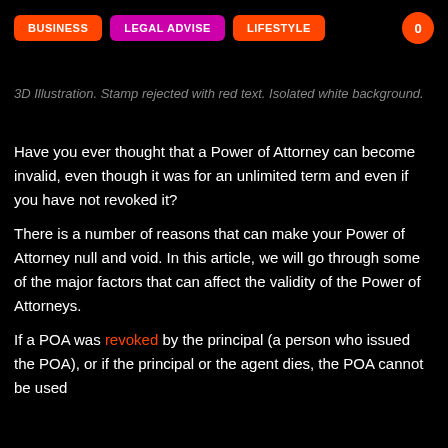BUSINESS | LEGAL ADVISE | LIFESTYLE
3D Illustration. Stamp rejected with red text. Isolated white background.
Have you ever thought that a Power of Attorney can become invalid, even though it was for an unlimited term and even if you have not revoked it?
There is a number of reasons that can make your Power of Attorney null and void. In this article, we will go through some of the major factors that can affect the validity of the Power of Attorneys.
If a POA was revoked by the principal (a person who issued the POA), or if the principal or the agent dies, the POA cannot be used